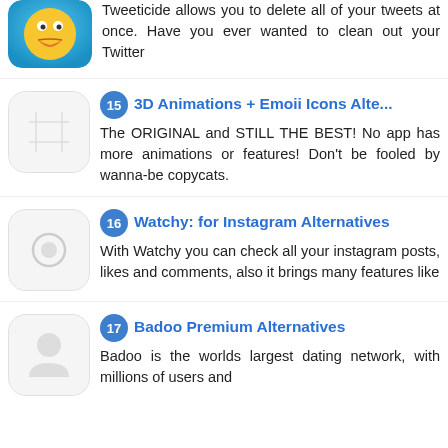Tweeticide allows you to delete all of your tweets at once. Have you ever wanted to clean out your Twitter
15 3D Animations + Emoii Icons Alte... The ORIGINAL and STILL THE BEST! No app has more animations or features! Don't be fooled by wanna-be copycats.
16 Watchy: for Instagram Alternatives With Watchy you can check all your instagram posts, likes and comments, also it brings many features like
17 Badoo Premium Alternatives Badoo is the worlds largest dating network, with millions of users and